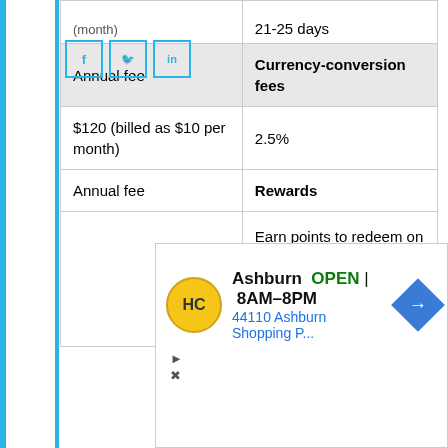| Annual fee | Currency-conversion fees / Rewards |
| --- | --- |
|  | 21-25 days |
| Annual fee | Currency-conversion fees |
| $120 (billed as $10 per month) | 2.5% |
| Annual fee | Rewards |
|  | Earn points to redeem on a wide range of options plus... |
[Figure (other): Social media share buttons: Facebook (f), Twitter (bird icon), LinkedIn (in)]
[Figure (other): Advertisement banner: Jiffy Lube (HC logo) - Ashburn OPEN 8AM-8PM, 44110 Ashburn Shopping P... with navigation arrow]